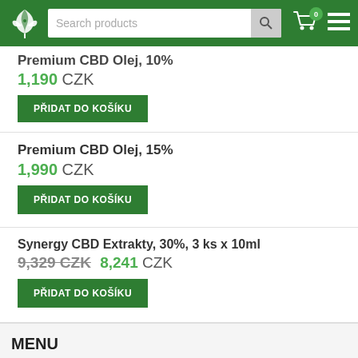[Figure (screenshot): Green e-commerce website header with cannabis leaf logo, search bar, cart icon with badge showing 0, and hamburger menu icon]
Premium CBD Olej, 10%
1,190 CZK
PŘIDAT DO KOŠÍKU
Premium CBD Olej, 15%
1,990 CZK
PŘIDAT DO KOŠÍKU
Synergy CBD Extrakty, 30%, 3 ks x 10ml
9,329 CZK  8,241 CZK
PŘIDAT DO KOŠÍKU
MENU